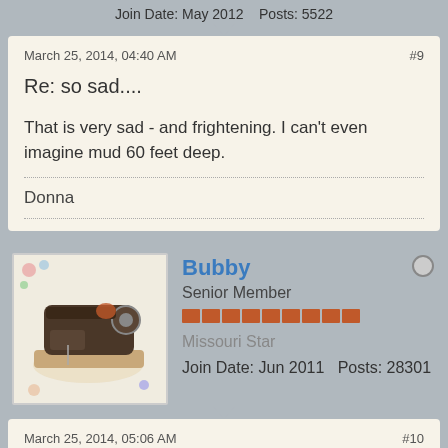Join Date: May 2012    Posts: 5522
March 25, 2014, 04:40 AM
#9
Re: so sad....
That is very sad - and frightening. I can't even imagine mud 60 feet deep.
Donna
Bubby
Senior Member
Missouri Star
Join Date: Jun 2011    Posts: 28301
March 25, 2014, 05:06 AM
#10
Re: so sad....